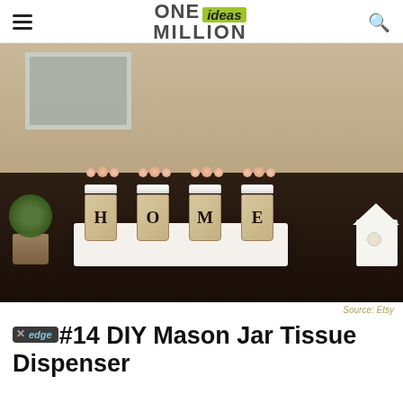ONE ideas MILLION
[Figure (photo): Four mason jars wrapped in burlap with letters H-O-M-E, filled with pink roses, arranged on a white tray on a dark wooden surface. A white birdhouse is visible on the right and a green plant in a burlap pot on the left. A distressed gray frame hangs on the wall behind.]
Source: Etsy
#14 DIY Mason Jar Tissue Dispenser